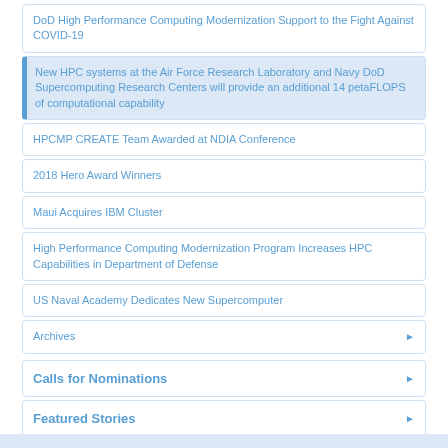DoD High Performance Computing Modernization Support to the Fight Against COVID-19
New HPC systems at the Air Force Research Laboratory and Navy DoD Supercomputing Research Centers will provide an additional 14 petaFLOPS of computational capability
HPCMP CREATE Team Awarded at NDIA Conference
2018 Hero Award Winners
Maui Acquires IBM Cluster
High Performance Computing Modernization Program Increases HPC Capabilities in Department of Defense
US Naval Academy Dedicates New Supercomputer
Archives
Calls for Nominations
Featured Stories